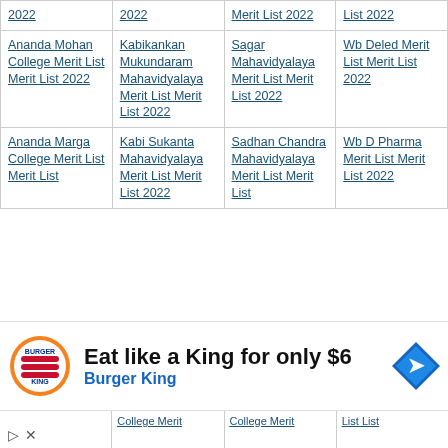| Col1 | Col2 | Col3 | Col4 |
| --- | --- | --- | --- |
| 2022 | 2022 | Merit List 2022 | List 2022 |
| Ananda Mohan College Merit List Merit List 2022 | Kabikankan Mukundaram Mahavidyalaya Merit List Merit List 2022 | Sagar Mahavidyalaya Merit List Merit List 2022 | Wb Deled Merit List Merit List 2022 |
| Ananda Marga College Merit List Merit List... | Kabi Sukanta Mahavidyalaya Merit List Merit List 2022 | Sadhan Chandra Mahavidyalaya Merit List Merit List... | Wb D Pharma Merit List Merit List 2022 |
[Figure (infographic): Burger King advertisement banner: Eat like a King for only $6]
College Merit | College Merit | List List